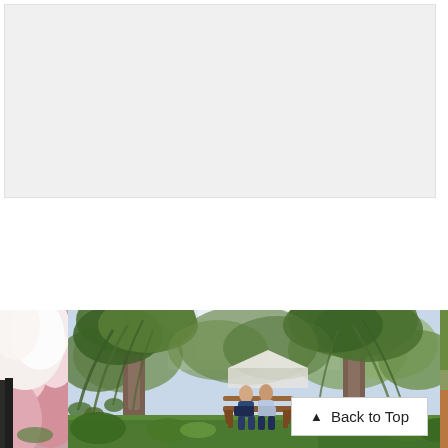[Figure (other): Light gray placeholder rectangle representing an image or banner area at the top of the page]
[Figure (photo): Outdoor garden/park scene showing a couple sitting on a wooden bench under large willow and leafy trees on a sunny day, surrounded by green grass and shrubs. A partial view of pink roses is visible on the left edge, and a partial garden scene on the right edge.]
Back to Top